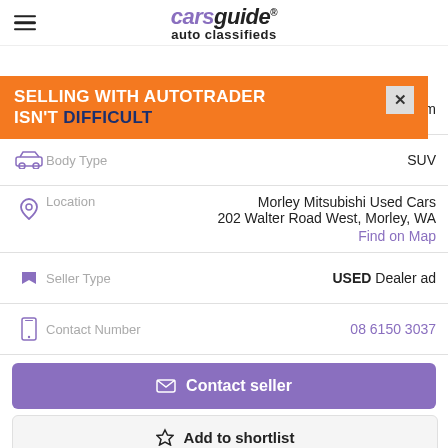carsguide auto classifieds
[Figure (other): Advertisement banner: orange background with text 'SELLING WITH AUTOTRADER ISN'T DIFFICULT' and a close button]
Ki... ,994 km
Body Type: SUV
Location: Morley Mitsubishi Used Cars, 202 Walter Road West, Morley, WA. Find on Map
Seller Type: USED Dealer ad
Contact Number: 08 6150 3037
Contact seller
Add to shortlist